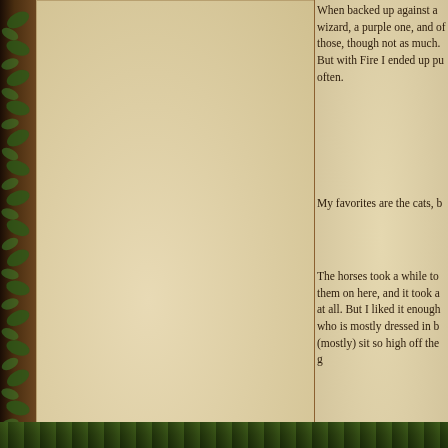When backed up against a wizard, a purple one, and of those, though not as much. But with Fire I ended up pushing often.
My favorites are the cats, b
The horses took a while to them on here, and it took a at all. But I liked it enough who is mostly dressed in b (mostly) sit so high off the g
Message Boards Home  >  Ravenwood Commons
Follow Wizard101 on social!
[Figure (logo): Twitter circular icon]
[Figure (logo): Facebook circular icon]
[Figure (logo): YouTube circular icon]
[Figure (logo): Instagram circular icon]
[Figure (logo): TikTok circular icon]
[Figure (logo): EV SSL certificate badge with checkmark]
EV SS
Free to Play | Kid Safe Game | System Requ © 2022 KingsIsle Entertainment, Inc. All